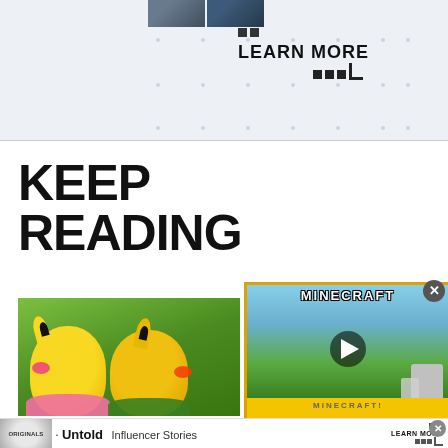[Figure (screenshot): Top advertisement banner with 'LEARN MORE' call-to-action, two small thumbnails, dot grid layout on light blue/grey background]
KEEP READING
[Figure (photo): Two Pikachu characters in colorful costumes standing in a green grassy field]
POKÉMON
Po... co... Pi...
Zackeria Fairfax · 2 hours ago
[Figure (screenshot): Minecraft video advertisement overlay with play button and yellow border]
[Figure (screenshot): Bottom advertisement banner: Originals logo, Untold Influencer Stories, LEARN MORE]
Untold
Influencer Stories